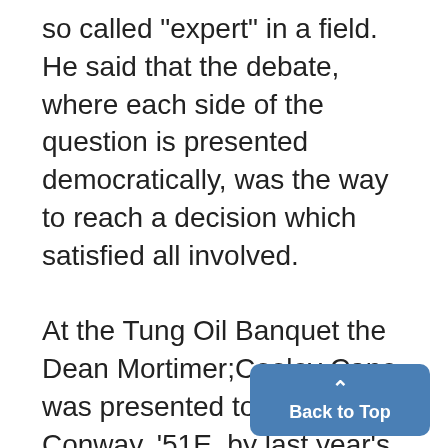so called "expert" in a field. He said that the debate, where each side of the question is presented democratically, was the way to reach a decision which satisfied all involved. At the Tung Oil Banquet the Dean Mortimer;Cooley Cane was presented to Keith L. Conway, '51E, by last year's winer, Norman V. Steere, '51E. Conway was chosen for his all-around oratorical ability and leadership in the Sigma Rho Tau socety.